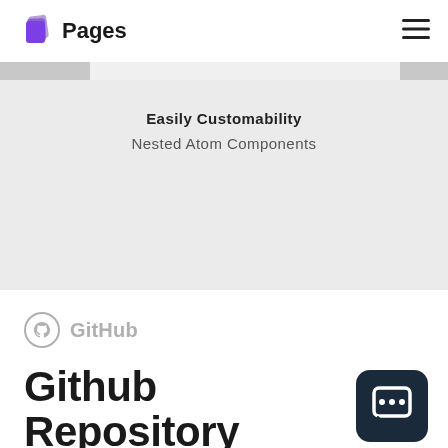Pages
Easily Customability
Nested Atom Components
[Figure (logo): GitHub logo (circle icon) with text 'GitHub' in light gray]
Github Repository